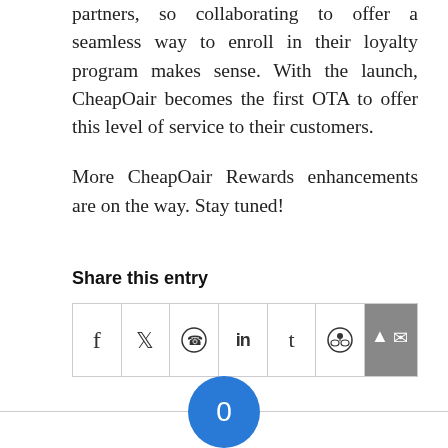American Airlines is one of our biggest partners, so collaborating to offer a seamless way to enroll in their loyalty program makes sense. With the launch, CheapOair becomes the first OTA to offer this level of service to their customers.
More CheapOair Rewards enhancements are on the way. Stay tuned!
Share this entry
[Figure (other): Row of social media share icons: Facebook (f), Twitter (bird/y), WhatsApp (phone circle), LinkedIn (in), Tumblr (t), Reddit (alien), and a dark email/share button with envelope icon and up arrow. Below is a blue circle with '0' in the center.]